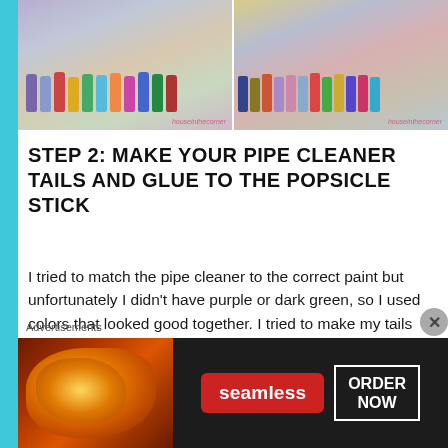[Figure (photo): Two side-by-side photos of paint bottle collections. Left photo shows colorful craft paint bottles arranged in a row on a surface. Right photo shows similar paint bottles arranged in rows. Both photos have a pink watermark that reads 'houseinthecorner'.]
STEP 2: MAKE YOUR PIPE CLEANER TAILS AND GLUE TO THE POPSICLE STICK
I tried to match the pipe cleaner to the correct paint but unfortunately I didn’t have purple or dark green, so I used colors that looked good together.  I tried to make my tails look a little different so my cats had some character.  Here is what my blue tail looked like!
Advertisements
[Figure (screenshot): Advertisement banner for Seamless food delivery service. Shows pizza on the left, the Seamless logo in red in the center, and an 'ORDER NOW' button in a white bordered box on the right. Dark background.]